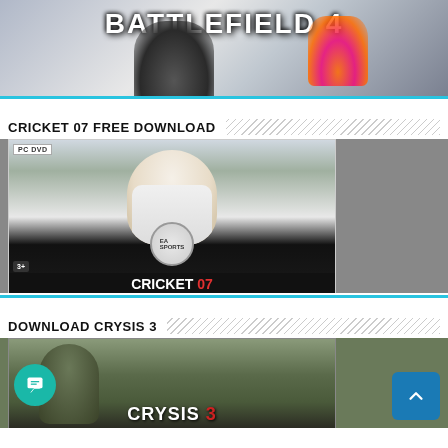[Figure (screenshot): Battlefield 4 game cover/banner image with soldiers and fire, title text 'BATTLEFIELD 4' visible at top]
CRICKET 07 FREE DOWNLOAD
[Figure (screenshot): Cricket 07 PC DVD game cover showing a cricketer, EA Sports logo, 'CRICKET 07' text, 3+ age rating]
DOWNLOAD CRYSIS 3
[Figure (screenshot): Crysis 3 game cover showing a soldier with bow, 'CRYSIS 3' logo text in red and white]